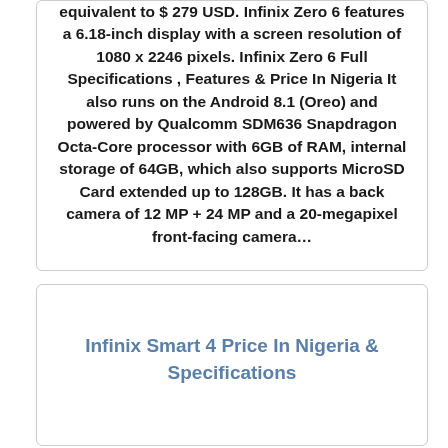equivalent to $ 279 USD. Infinix Zero 6 features a 6.18-inch display with a screen resolution of 1080 x 2246 pixels. Infinix Zero 6 Full Specifications , Features & Price In Nigeria It also runs on the Android 8.1 (Oreo) and powered by Qualcomm SDM636 Snapdragon Octa-Core processor with 6GB of RAM, internal storage of 64GB, which also supports MicroSD Card extended up to 128GB. It has a back camera of 12 MP + 24 MP and a 20-megapixel front-facing camera…
Infinix Smart 4 Price In Nigeria & Specifications